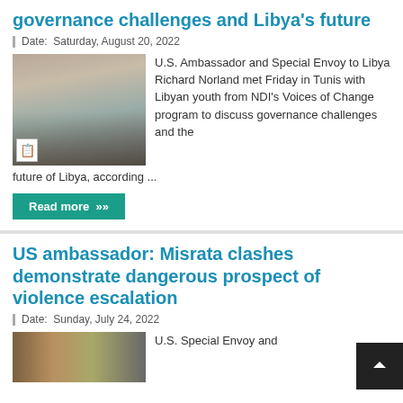governance challenges and Libya's future
Date: Saturday, August 20, 2022
[Figure (photo): Group photo of people at an event with a blue background banner]
U.S. Ambassador and Special Envoy to Libya Richard Norland met Friday in Tunis with Libyan youth from NDI's Voices of Change program to discuss governance challenges and the future of Libya, according ...
Read more »
US ambassador: Misrata clashes demonstrate dangerous prospect of violence escalation
Date: Sunday, July 24, 2022
[Figure (photo): Partial photo with flag-like texture]
U.S. Special Envoy and